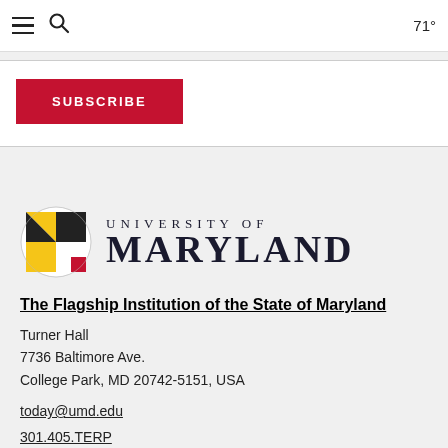71°
[Figure (logo): SUBSCRIBE button in red]
[Figure (logo): University of Maryland logo with Maryland flag shield and wordmark]
The Flagship Institution of the State of Maryland
Turner Hall
7736 Baltimore Ave.
College Park, MD 20742-5151, USA
today@umd.edu
301.405.TERP
[Figure (illustration): Social media icons: YouTube, Facebook, Twitter, Instagram]